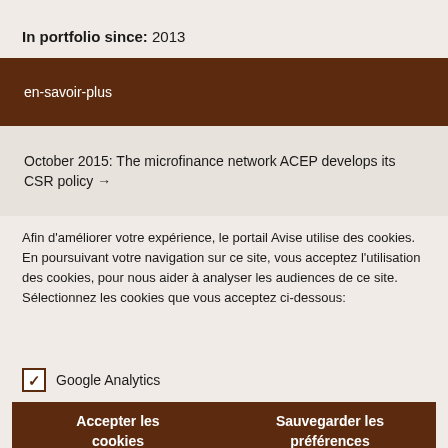In portfolio since: 2013
en-savoir-plus
October 2015: The microfinance network ACEP develops its CSR policy →
Afin d'améliorer votre expérience, le portail Avise utilise des cookies. En poursuivant votre navigation sur ce site, vous acceptez l'utilisation des cookies, pour nous aider à analyser les audiences de ce site. Sélectionnez les cookies que vous acceptez ci-dessous:
✓ Google Analytics
Accepter les cookies
Sauvegarder les préférences